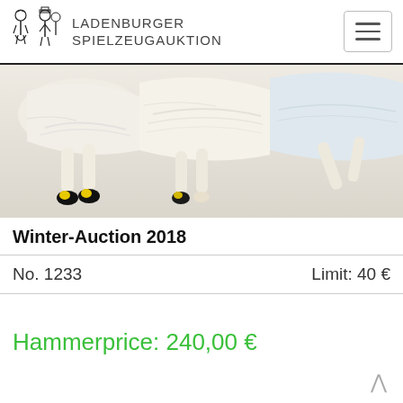LADENBURGER SPIELZEUGAUKTION
[Figure (photo): Close-up photo of antique doll lower bodies laid side by side on white background, showing cream-colored cloth bodies, small doll legs/feet with black and yellow shoes]
Winter-Auction 2018
No. 1233
Limit: 40 €
Hammerprice: 240,00 €